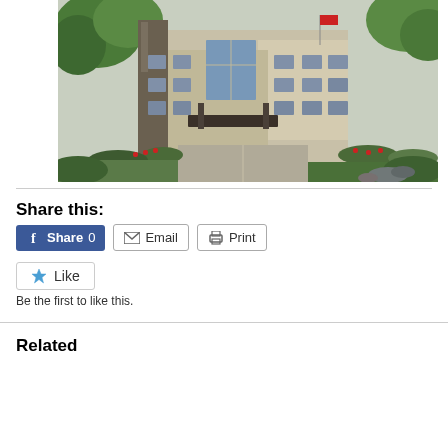[Figure (photo): Exterior photo of a multi-story residential or senior living building with trees, landscaping, red flowers, and a covered entrance with a driveway]
Share this:
Share 0  Email  Print
Like
Be the first to like this.
Related